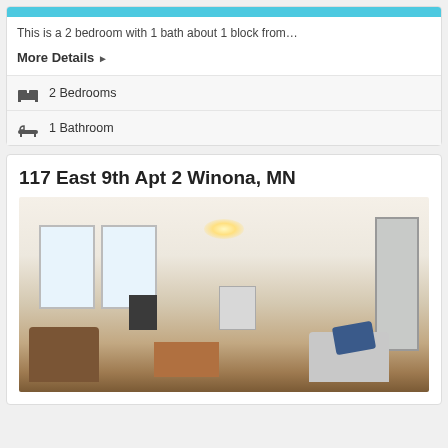This is a 2 bedroom with 1 bath about 1 block from…
More Details ▶
2 Bedrooms
1 Bathroom
117 East 9th Apt 2 Winona, MN
[Figure (photo): Interior photo of a living room with white walls, ceiling light, windows with blinds, TV on stand, radiator, sofas, coffee table, and a blue blanket]